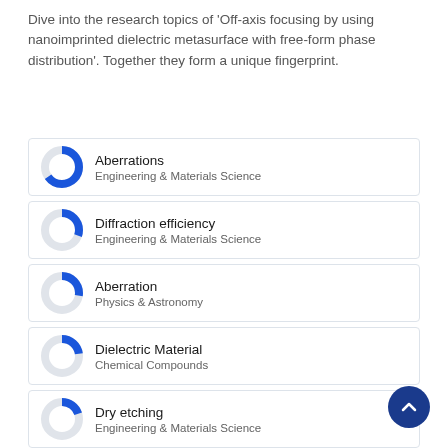Dive into the research topics of 'Off-axis focusing by using nanoimprinted dielectric metasurface with free-form phase distribution'. Together they form a unique fingerprint.
Aberrations — Engineering & Materials Science
Diffraction efficiency — Engineering & Materials Science
Aberration — Physics & Astronomy
Dielectric Material — Chemical Compounds
Dry etching — Engineering & Materials Science